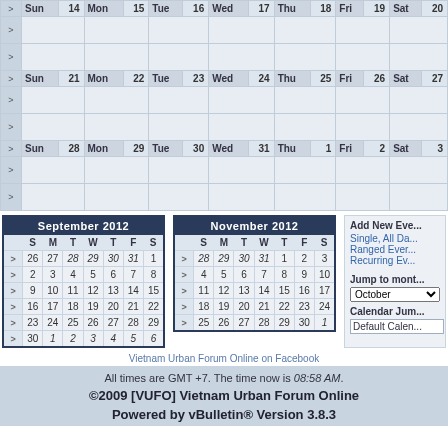|  | Sun | 14 | Mon | 15 | Tue | 16 | Wed | 17 | Thu | 18 | Fri | 19 | Sat | 20 |
| --- | --- | --- | --- | --- | --- | --- | --- | --- | --- | --- | --- | --- | --- | --- |
| > |  |  |  |  |  |  |  |  |  |  |  |  |  |  |
| > |  |  |  |  |  |  |  |  |  |  |  |  |  |  |
| > | Sun | 21 | Mon | 22 | Tue | 23 | Wed | 24 | Thu | 25 | Fri | 26 | Sat | 27 |
| > |  |  |  |  |  |  |  |  |  |  |  |  |  |  |
| > |  |  |  |  |  |  |  |  |  |  |  |  |  |  |
| > | Sun | 28 | Mon | 29 | Tue | 30 | Wed | 31 | Thu | 1 | Fri | 2 | Sat | 3 |
| > |  |  |  |  |  |  |  |  |  |  |  |  |  |  |
| > |  |  |  |  |  |  |  |  |  |  |  |  |  |  |
| September 2012 | S | M | T | W | T | F | S |
| --- | --- | --- | --- | --- | --- | --- | --- |
| > | 26 | 27 | 28 | 29 | 30 | 31 | 1 |
| > | 2 | 3 | 4 | 5 | 6 | 7 | 8 |
| > | 9 | 10 | 11 | 12 | 13 | 14 | 15 |
| > | 16 | 17 | 18 | 19 | 20 | 21 | 22 |
| > | 23 | 24 | 25 | 26 | 27 | 28 | 29 |
| > | 30 | 1 | 2 | 3 | 4 | 5 | 6 |
| November 2012 | S | M | T | W | T | F | S |
| --- | --- | --- | --- | --- | --- | --- | --- |
| > | 28 | 29 | 30 | 31 | 1 | 2 | 3 |
| > | 4 | 5 | 6 | 7 | 8 | 9 | 10 |
| > | 11 | 12 | 13 | 14 | 15 | 16 | 17 |
| > | 18 | 19 | 20 | 21 | 22 | 23 | 24 |
| > | 25 | 26 | 27 | 28 | 29 | 30 | 1 |
Add New Eve...
Single, All Da...
Ranged Ever...
Recurring Ev...
Jump to mont...
October
Calendar Jum...
Default Calen...
Vietnam Urban Forum Online on Facebook
All times are GMT +7. The time now is 08:58 AM.
©2009 [VUFO] Vietnam Urban Forum Online
Powered by vBulletin® Version 3.8.3